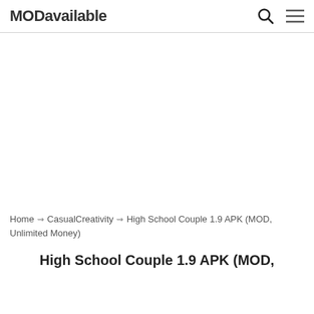MODavailable
Home ⇝ Casual Creativity ⇝ High School Couple 1.9 APK (MOD, Unlimited Money)
High School Couple 1.9 APK (MOD,